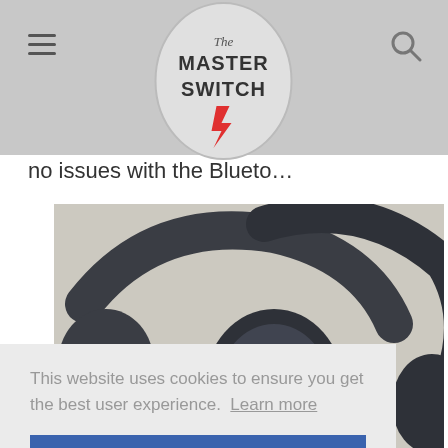The Master Switch
no issues with the Blueto...
[Figure (photo): Two dark-colored over-ear headphones (Sony and Bose) laid flat on a light beige fabric surface, viewed from above.]
This website uses cookies to ensure you get the best user experience. Learn more
Got it!